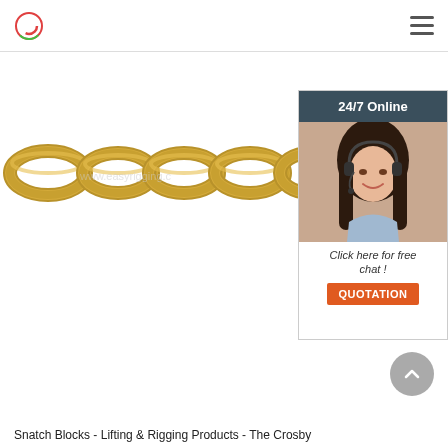[Figure (photo): Close-up photo of gold/yellow zinc-plated metal chain links on white background with watermark text visible]
[Figure (photo): Chat widget showing a woman with headset and text '24/7 Online', 'Click here for free chat!', and a QUOTATION button]
Snatch Blocks - Lifting & Rigging Products - The Crosby